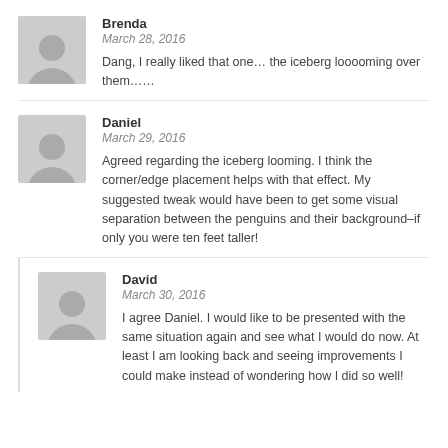[Figure (illustration): Generic user avatar silhouette placeholder image for Brenda]
Brenda
March 28, 2016
Dang, I really liked that one… the iceberg looooming over them……
[Figure (illustration): Generic user avatar silhouette placeholder image for Daniel]
Daniel
March 29, 2016
Agreed regarding the iceberg looming. I think the corner/edge placement helps with that effect. My suggested tweak would have been to get some visual separation between the penguins and their background–if only you were ten feet taller!
[Figure (illustration): Generic user avatar silhouette placeholder image for David]
David
March 30, 2016
I agree Daniel. I would like to be presented with the same situation again and see what I would do now. At least I am looking back and seeing improvements I could make instead of wondering how I did so well!